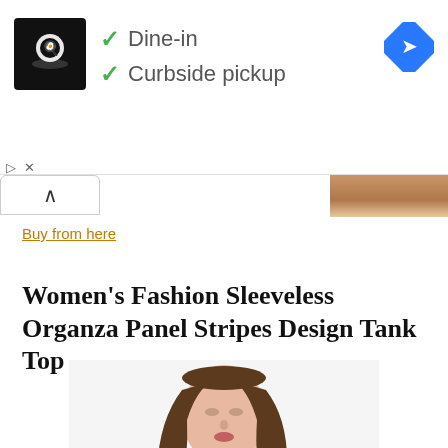[Figure (screenshot): Ad banner with restaurant logo (chef icon on black background), checkmarks for Dine-in and Curbside pickup, and a blue diamond navigation icon on the right]
Buy from here
Women's Fashion Sleeveless Organza Panel Stripes Design Tank Top
[Figure (photo): Woman wearing a black sleeveless tank top with organza panel stripes at the neckline, shown from approximately shoulders up, with long brown hair]